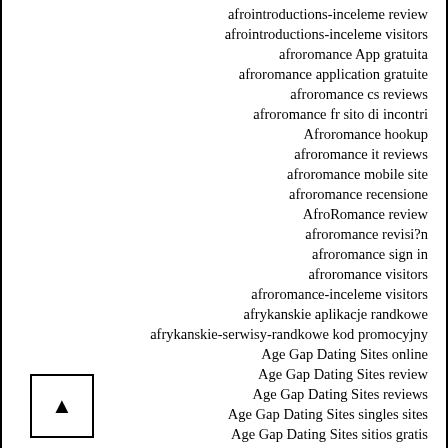afrointroductions-inceleme review
afrointroductions-inceleme visitors
afroromance App gratuita
afroromance application gratuite
afroromance cs reviews
afroromance fr sito di incontri
Afroromance hookup
afroromance it reviews
afroromance mobile site
afroromance recensione
AfroRomance review
afroromance revisi?n
afroromance sign in
afroromance visitors
afroromance-inceleme visitors
afrykanskie aplikacje randkowe
afrykanskie-serwisy-randkowe kod promocyjny
Age Gap Dating Sites online
Age Gap Dating Sites review
Age Gap Dating Sites reviews
Age Gap Dating Sites singles sites
Age Gap Dating Sites sitios gratis
Age Gap Dating Sites want site reviews
Age Gap free transgender dating websites
airg cs review
airg cs reviews
airg hookup site